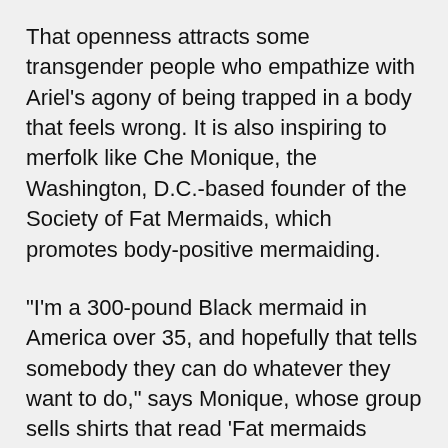That openness attracts some transgender people who empathize with Ariel's agony of being trapped in a body that feels wrong. It is also inspiring to merfolk like Che Monique, the Washington, D.C.-based founder of the Society of Fat Mermaids, which promotes body-positive mermaiding.
"I'm a 300-pound Black mermaid in America over 35, and hopefully that tells somebody they can do whatever they want to do," says Monique, whose group sells shirts that read 'Fat mermaids make waves' and 'Gender is fluid under the sea.' "Sure, on the one hand it is really silly, but I've watched it change people's lives."